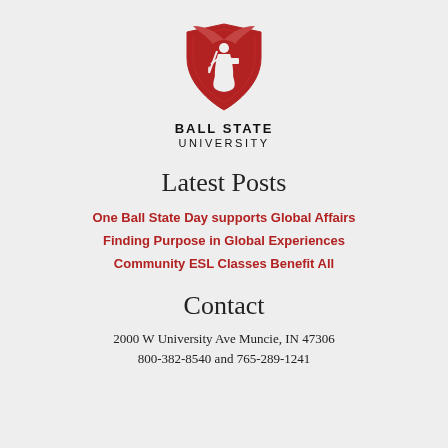[Figure (logo): Ball State University logo: a red winged figure holding a torch and book on a shield-shaped crest]
BALL STATE
UNIVERSITY
Latest Posts
One Ball State Day supports Global Affairs
Finding Purpose in Global Experiences
Community ESL Classes Benefit All
Contact
2000 W University Ave Muncie, IN 47306
800-382-8540 and 765-289-1241